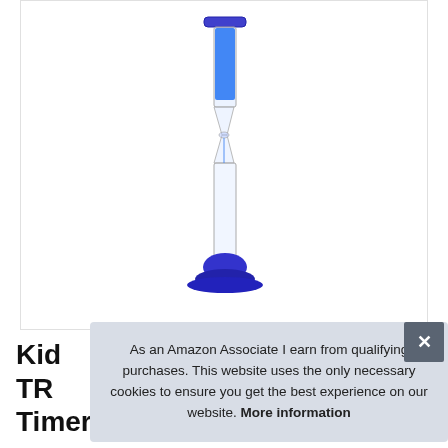[Figure (photo): A blue sand hourglass timer with blue plastic base and cap, standing upright on a white background. The upper chamber contains blue sand, and some sand is visible in the lower chamber.]
As an Amazon Associate I earn from qualifying purchases. This website uses the only necessary cookies to ensure you get the best experience on our website. More information
Kid
TR
Timer